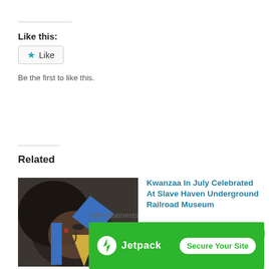Like this:
Like
Be the first to like this.
Related
[Figure (illustration): Artwork showing a face with geometric colored shapes (blue, yellow triangles/diamonds) overlaid, in mixed media style.]
Ashley Mudge Celebrates Juneteenth, The Women Of Color From An Artistic...
Kwanzaa In July Celebrated At Slave Haven Underground Railroad Museum
Kwanzaa In July Celebrated At Slave Haven Underground Railroad Museum
Kwanzaa in July will be
[Figure (infographic): Jetpack advertisement banner with green background. Left side shows Jetpack logo (lightning bolt icon) and 'Jetpack' text in white. Right side has a white button 'Secure Your Site'.]
Advertisements